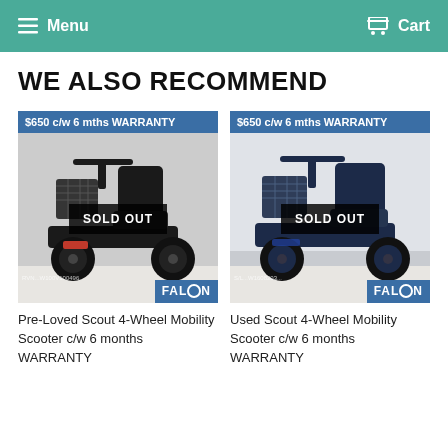Menu  Cart
WE ALSO RECOMMEND
[Figure (photo): Red mobility scooter (Scout 4-Wheel) with black basket and seat, SOLD OUT badge, price label $650 c/w 6 mths WARRANTY, Falcon logo at bottom right.]
Pre-Loved Scout 4-Wheel Mobility Scooter c/w 6 months WARRANTY
[Figure (photo): Blue/dark mobility scooter (Scout 4-Wheel) with black basket and seat, SOLD OUT badge, price label $650 c/w 6 mths WARRANTY, Falcon logo at bottom right.]
Used Scout 4-Wheel Mobility Scooter c/w 6 months WARRANTY